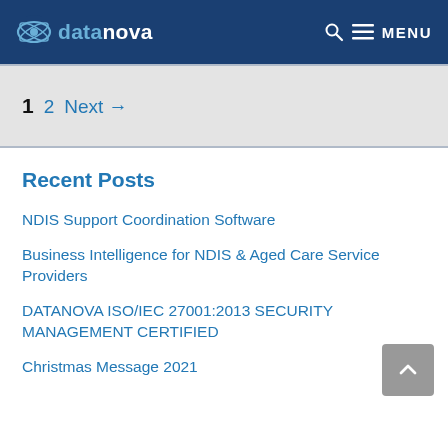datanova — MENU
1  2  Next →
Recent Posts
NDIS Support Coordination Software
Business Intelligence for NDIS & Aged Care Service Providers
DATANOVA ISO/IEC 27001:2013 SECURITY MANAGEMENT CERTIFIED
Christmas Message 2021